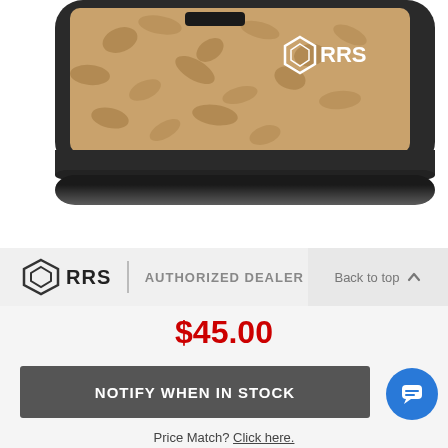[Figure (photo): Close-up photo of a product with cork texture surface and dark/black frame, showing RRS logo (diamond R icon with RRS text) in white on the corner.]
[Figure (logo): RRS Authorized Dealer logo with RRS diamond icon, vertical divider, and text 'AUTHORIZED DEALER']
Back to top ∧
$45.00
NOTIFY WHEN IN STOCK
Price Match? Click here.